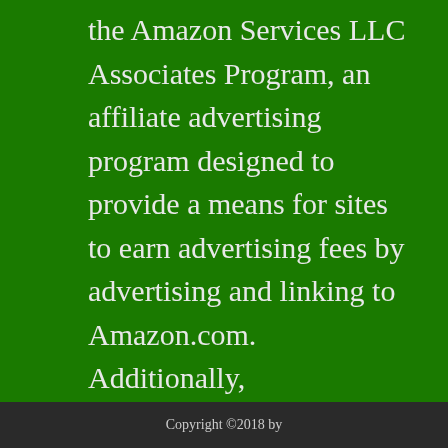the Amazon Services LLC Associates Program, an affiliate advertising program designed to provide a means for sites to earn advertising fees by advertising and linking to Amazon.com. Additionally, AGreenHand.com participates in various other affiliate programs, and we sometimes get a commission through purchases made through our links.
Copyright ©2018 by